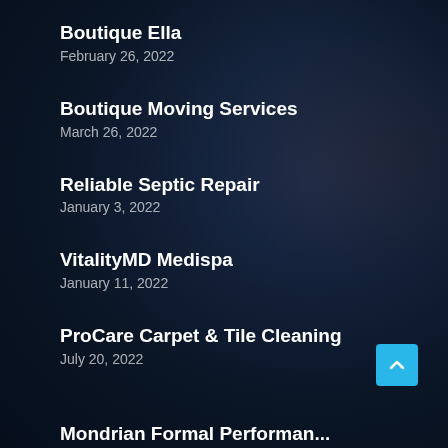Boutique Ella
February 26, 2022
Boutique Moving Services
March 26, 2022
Reliable Septic Repair
January 3, 2022
VitalityMD Medispa
January 11, 2022
ProCare Carpet & Tile Cleaning
July 20, 2022
Mondrian Formal Performance...